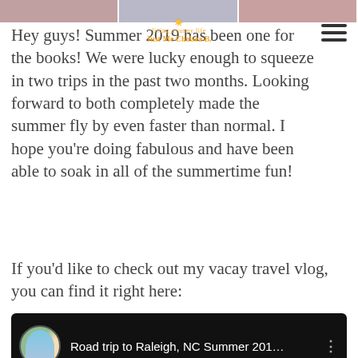[Figure (photo): Three horizontal image strips at the top of the blog page showing partial photos]
[Figure (logo): Just Me Chelsea B. blog logo with sun illustration and tagline 'living a sunny life']
Hey guys! Summer 2019 has been one for the books! We were lucky enough to squeeze in two trips in the past two months. Looking forward to both completely made the summer fly by even faster than normal. I hope you're doing fabulous and have been able to soak in all of the summertime fun!
If you'd like to check out my vacay travel vlog, you can find it right here:
[Figure (screenshot): YouTube video embed thumbnail showing 'Road trip to Raleigh, NC Summer 201...' with circular profile photo avatar on black background]